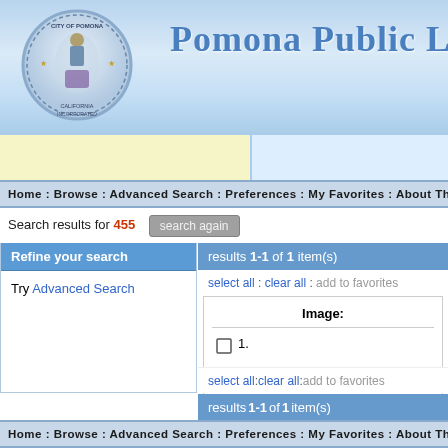[Figure (logo): City of Pomona seal/logo on blue gradient banner header with 'Pomona Public Lib' title text]
Home : Browse : Advanced Search : Preferences : My Favorites : About Th
Search results for 455  [search again]
Refine your search
Try Advanced Search
results 1-1 of 1 item(s)
select all : clear all : add to favorites
| Image: |
| --- |
| ☐  1. |
select all : clear all : add to favorites
results 1-1 of 1 item(s)
Home : Browse : Advanced Search : Preferences : My Favorites : About Th